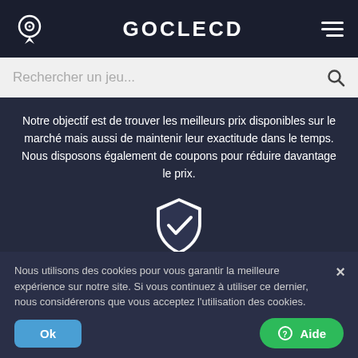GOCLECD
Rechercher un jeu...
Notre objectif est de trouver les meilleurs prix disponibles sur le marché mais aussi de maintenir leur exactitude dans le temps. Nous disposons également de coupons pour réduire davantage le prix.
[Figure (illustration): Shield with checkmark icon — white shield outline with a white checkmark inside]
PROTECTION DES ACHETEURS
Chez Goclecd, vous êtes notre priorité. C'est...
Nous utilisons des cookies pour vous garantir la meilleure expérience sur notre site. Si vous continuez à utiliser ce dernier, nous considérerons que vous acceptez l'utilisation des cookies.
Ok
⓪ Aide